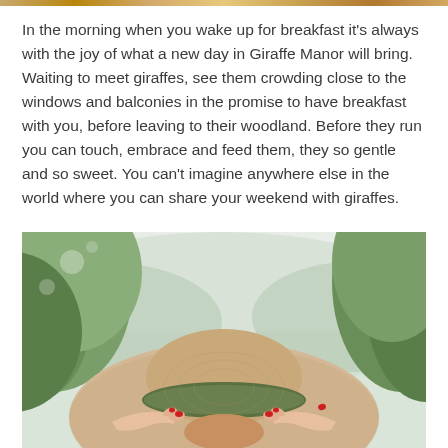In the morning when you wake up for breakfast it's always with the joy of what a new day in Giraffe Manor will bring. Waiting to meet giraffes, see them crowding close to the windows and balconies in the promise to have breakfast with you, before leaving to their woodland. Before they run you can touch, embrace and feed them, they so gentle and so sweet. You can't imagine anywhere else in the world where you can share your weekend with giraffes.
[Figure (photo): A woman seen from behind holding a large wide-brimmed straw hat with a green band, with lush green trees and misty mountains in the background.]